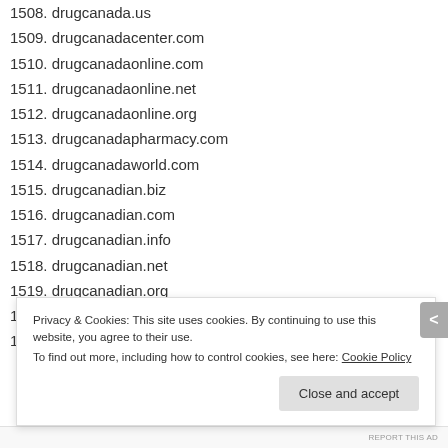1508. drugcanada.us
1509. drugcanadacenter.com
1510. drugcanadaonline.com
1511. drugcanadaonline.net
1512. drugcanadaonline.org
1513. drugcanadapharmacy.com
1514. drugcanadaworld.com
1515. drugcanadian.biz
1516. drugcanadian.com
1517. drugcanadian.info
1518. drugcanadian.net
1519. drugcanadian.org
1520. drugcanadian.com
1521. drugcentercanada.com
Privacy & Cookies: This site uses cookies. By continuing to use this website, you agree to their use. To find out more, including how to control cookies, see here: Cookie Policy
REPORT THIS AD